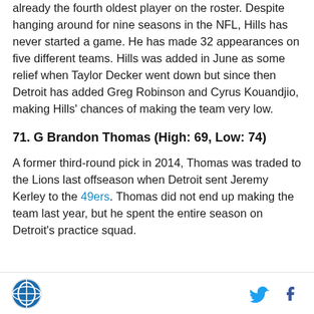already the fourth oldest player on the roster. Despite hanging around for nine seasons in the NFL, Hills has never started a game. He has made 32 appearances on five different teams. Hills was added in June as some relief when Taylor Decker went down but since then Detroit has added Greg Robinson and Cyrus Kouandjio, making Hills' chances of making the team very low.
71. G Brandon Thomas (High: 69, Low: 74)
A former third-round pick in 2014, Thomas was traded to the Lions last offseason when Detroit sent Jeremy Kerley to the 49ers. Thomas did not end up making the team last year, but he spent the entire season on Detroit's practice squad.
SB Nation logo | Twitter icon | Facebook icon